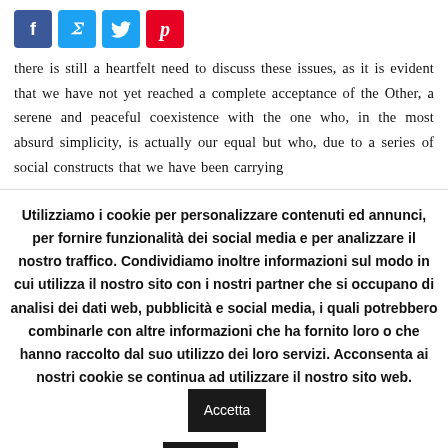[Figure (other): Social media share buttons: Facebook (blue), Twitter (light blue), Pinterest (red)]
there is still a heartfelt need to discuss these issues, as it is evident that we have not yet reached a complete acceptance of the Other, a serene and peaceful coexistence with the one who, in the most absurd simplicity, is actually our equal but who, due to a series of social constructs that we have been carrying
Utilizziamo i cookie per personalizzare contenuti ed annunci, per fornire funzionalità dei social media e per analizzare il nostro traffico. Condividiamo inoltre informazioni sul modo in cui utilizza il nostro sito con i nostri partner che si occupano di analisi dei dati web, pubblicità e social media, i quali potrebbero combinarle con altre informazioni che ha fornito loro o che hanno raccolto dal suo utilizzo dei loro servizi. Acconsenta ai nostri cookie se continua ad utilizzare il nostro sito web.
Accetta
Rifiuta
Leggi